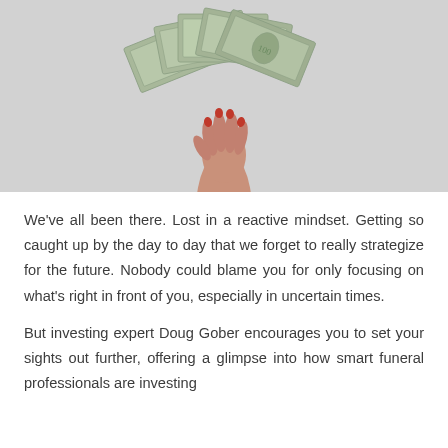[Figure (photo): A hand raised upward holding a fan of US $100 dollar bills against a light gray background.]
We've all been there. Lost in a reactive mindset. Getting so caught up by the day to day that we forget to really strategize for the future. Nobody could blame you for only focusing on what's right in front of you, especially in uncertain times.
But investing expert Doug Gober encourages you to set your sights out further, offering a glimpse into how smart funeral professionals are investing